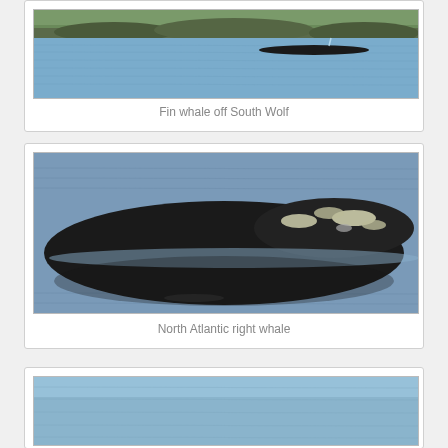[Figure (photo): Fin whale surfacing in open water near rocky coastline, mostly submerged with only a small portion of the back visible above water surface]
Fin whale off South Wolf
[Figure (photo): Close-up of a North Atlantic right whale at the water surface, showing the distinctive rough callosities on the head, dark coloring with white patches, surrounded by calm blue-grey water]
North Atlantic right whale
[Figure (photo): Partial view of a whale at the water surface, showing calm blue water]